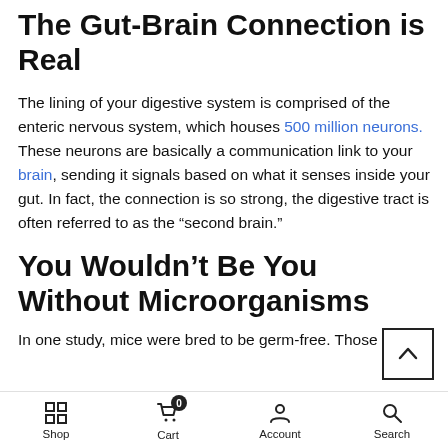The Gut-Brain Connection is Real
The lining of your digestive system is comprised of the enteric nervous system, which houses 500 million neurons. These neurons are basically a communication link to your brain, sending it signals based on what it senses inside your gut. In fact, the connection is so strong, the digestive tract is often referred to as the “second brain.”
You Wouldn’t Be You Without Microorganisms
In one study, mice were bred to be germ-free. Those
Shop  Cart 0  Account  Search